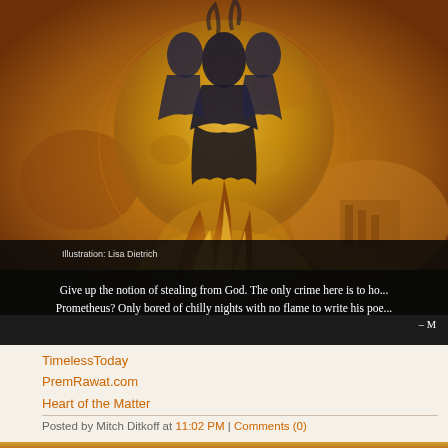[Figure (illustration): Digital artwork showing dark silhouetted figures rising from golden flames against an amber/orange background with circular geometric patterns resembling a celestial chart. Illustration by Lisa Dietrich.]
Give up the notion of stealing from God. The only crime here is to ho... Prometheus? Only bored of chilly nights with no flame to write his poe... – M
TimelessToday
PremRawat.com
Heart of the Matter
Posted by Mitch Ditkoff at 11:02 PM | Comments (0)